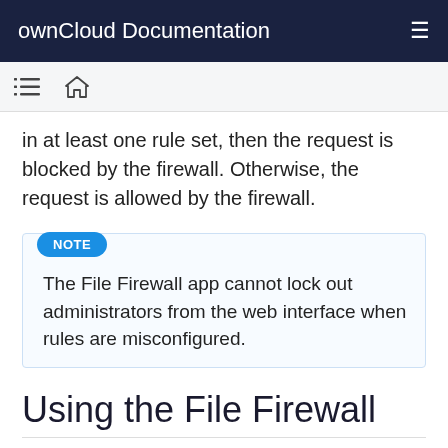ownCloud Documentation
in at least one rule set, then the request is blocked by the firewall. Otherwise, the request is allowed by the firewall.
NOTE
The File Firewall app cannot lock out administrators from the web interface when rules are misconfigured.
Using the File Firewall
Figure 1 shows an empty firewall configuration